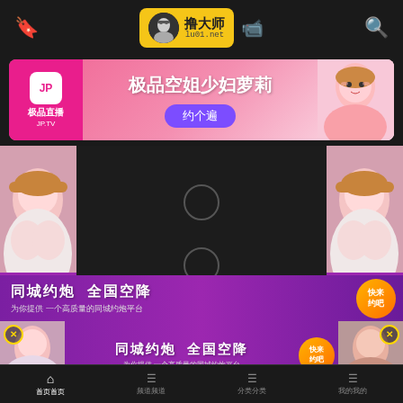撸大师 lu01.net
[Figure (screenshot): Pink advertisement banner for JP.TV live streaming service with text '极品空姐少妇萝莉' and '约个遍' button]
[Figure (photo): Main video content area with side girl images and purple bottom banner '同城约炮 全国空降 为你提供一个高质量的同城约炮平台']
[Figure (screenshot): Purple banner ad '同城约炮 全国空降 为你提供一个高质量的同城约炮平台' with girl photos on sides]
首页  分类  频道  我的